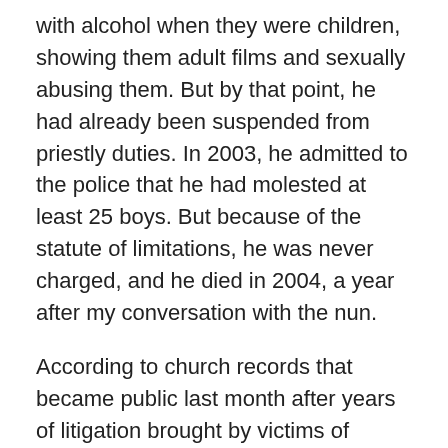with alcohol when they were children, showing them adult films and sexually abusing them. But by that point, he had already been suspended from priestly duties. In 2003, he admitted to the police that he had molested at least 25 boys. But because of the statute of limitations, he was never charged, and he died in 2004, a year after my conversation with the nun.
According to church records that became public last month after years of litigation brought by victims of sexual abuse at the hands of priests and brothers of religious orders, this story is sadly familiar. The documents include information on 124 priests over four decades, and demonstrate a pattern by the church of cover-up, denial and — I can't help but think it — evil....
http://www.nytimes.com/2013/02/07/opinion/the-catholic-